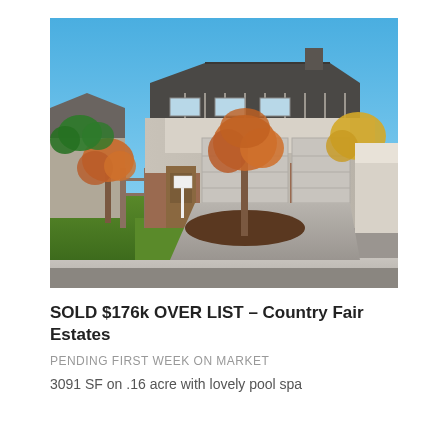[Figure (photo): Exterior photo of a two-story suburban home with brick and siding facade, two-car garage, autumn-colored trees in the front yard, green lawn, and a clear blue sky.]
SOLD $176k OVER LIST – Country Fair Estates
PENDING FIRST WEEK ON MARKET
3091 SF on .16 acre with lovely pool spa